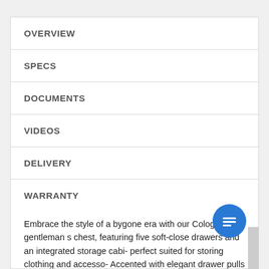OVERVIEW
SPECS
DOCUMENTS
VIDEOS
DELIVERY
WARRANTY
Embrace the style of a bygone era with our Cologne gentleman s chest, featuring five soft-close drawers and an integrated storage cabi- perfect suited for storing clothing and accesso- Accented with elegant drawer pulls and metal- capped feet in an antiqued gold finish, this